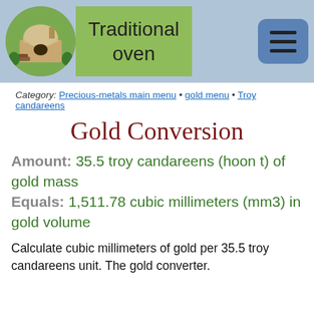Traditional oven
Category: Precious-metals main menu • gold menu • Troy candareens
Gold Conversion
Amount: 35.5 troy candareens (hoon t) of gold mass Equals: 1,511.78 cubic millimeters (mm3) in gold volume
Calculate cubic millimeters of gold per 35.5 troy candareens unit. The gold converter.